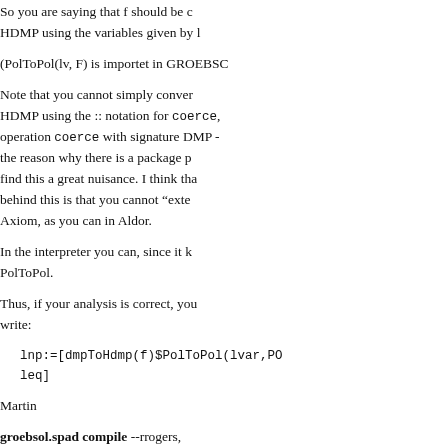So you are saying that f should be converted to HDMP using the variables given by l
(PolToPol(lv, F) is importet in GROEBSC
Note that you cannot simply convert to HDMP using the :: notation for coerce, operation coerce with signature DMP -> the reason why there is a package p find this a great nuisance. I think that behind this is that you cannot "exte Axiom, as you can in Aldor.
In the interpreter you can, since it k PolToPol.
Thus, if your analysis is correct, you write:
lnp:=[dmpToHdmp(f)$PolToPol(lvar,PO
leq]
Martin
groebsol.spad compile --rrogers, 97-06-29-0600 reply